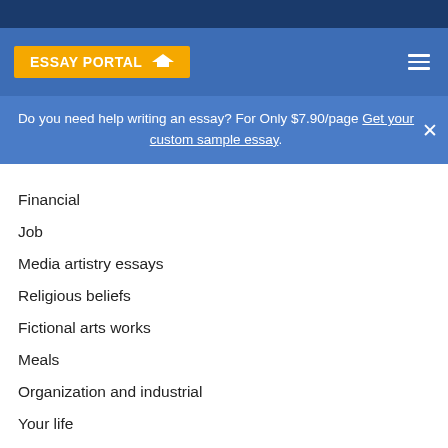[Figure (screenshot): Dark navy top bar of website]
[Figure (logo): Essay Portal logo with graduation cap on blue navigation bar]
Do you need help writing an essay? For Only $7.90/page Get your custom sample essay.
Financial
Job
Media artistry essays
Religious beliefs
Fictional arts works
Meals
Organization and industrial
Your life
Physical fitness
Theories
English language
Religious beliefs and spirituality
Language